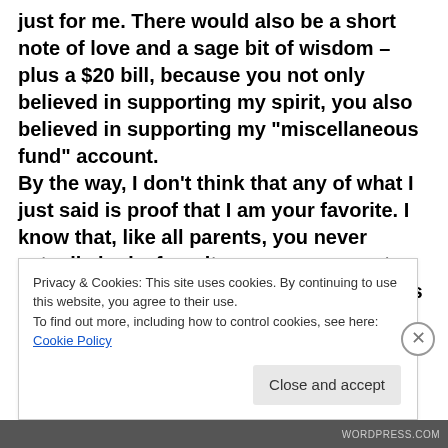just for me. There would also be a short note of love and a sage bit of wisdom – plus a $20 bill, because you not only believed in supporting my spirit, you also believed in supporting my "miscellaneous fund" account. By the way, I don't think that any of what I just said is proof that I am your favorite. I know that, like all parents, you never actually had a favorite – you were most happy with whoever was bugging you less at the moment. So, I won't even mention the idea that you
Privacy & Cookies: This site uses cookies. By continuing to use this website, you agree to their use. To find out more, including how to control cookies, see here: Cookie Policy
Close and accept